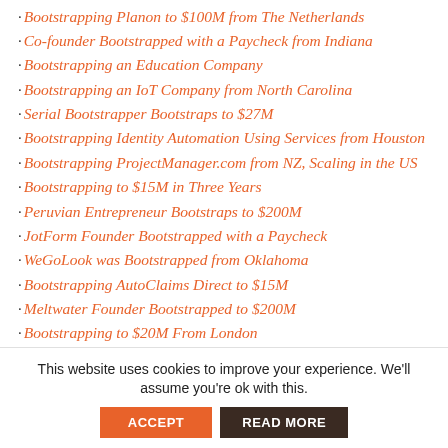Bootstrapping Planon to $100M from The Netherlands
Co-founder Bootstrapped with a Paycheck from Indiana
Bootstrapping an Education Company
Bootstrapping an IoT Company from North Carolina
Serial Bootstrapper Bootstraps to $27M
Bootstrapping Identity Automation Using Services from Houston
Bootstrapping ProjectManager.com from NZ, Scaling in the US
Bootstrapping to $15M in Three Years
Peruvian Entrepreneur Bootstraps to $200M
JotForm Founder Bootstrapped with a Paycheck
WeGoLook was Bootstrapped from Oklahoma
Bootstrapping AutoClaims Direct to $15M
Meltwater Founder Bootstrapped to $200M
Bootstrapping to $20M From London
Synechron CEO Bootstrapped to $300M
Unique Vintage was Bootstrapped with a Paycheck
Toptal CEO Bootstraps a Virtual Company to Scale
Bootstrapping to $45M from Chicago
Veeepo Co-founder Bootstrapped to $130M (partial)
This website uses cookies to improve your experience. We'll assume you're ok with this.
ACCEPT
READ MORE